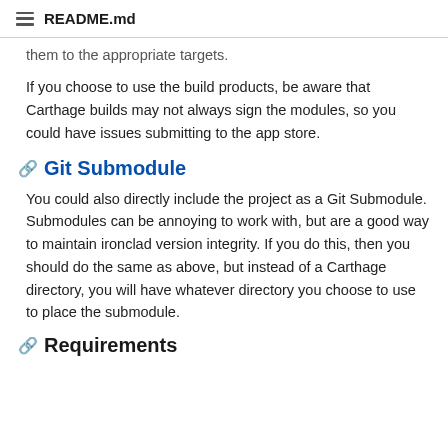README.md
them to the appropriate targets.
If you choose to use the build products, be aware that Carthage builds may not always sign the modules, so you could have issues submitting to the app store.
Git Submodule
You could also directly include the project as a Git Submodule. Submodules can be annoying to work with, but are a good way to maintain ironclad version integrity. If you do this, then you should do the same as above, but instead of a Carthage directory, you will have whatever directory you choose to use to place the submodule.
Requirements